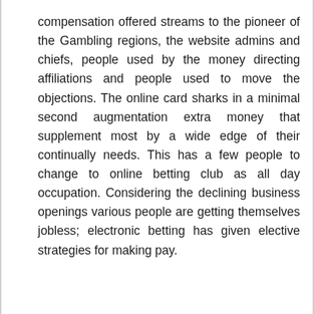compensation offered streams to the pioneer of the Gambling regions, the website admins and chiefs, people used by the money directing affiliations and people used to move the objections. The online card sharks in a minimal second augmentation extra money that supplement most by a wide edge of their continually needs. This has a few people to change to online betting club as all day occupation. Considering the declining business openings various people are getting themselves jobless; electronic betting has given elective strategies for making pay.